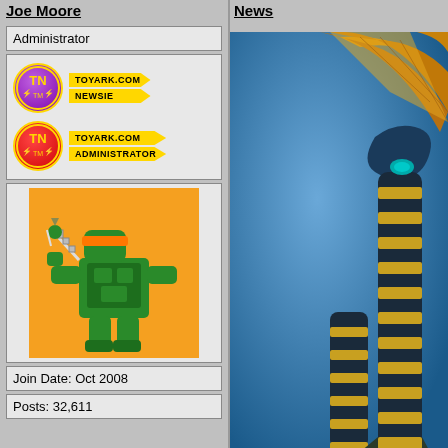Joe Moore
Administrator
[Figure (logo): Toyark.com Newsie badge with purple circle and TN logo, and Toyark.com Administrator badge with red circle and TN logo]
[Figure (illustration): Pixel art avatar of a green ninja turtle character holding a chain weapon on an orange background]
Join Date: Oct 2008
Posts: 32,611
News
[Figure (photo): Photo of a figure/toy resembling a cobra or snake creature with striped legs and a large fin/crest on its head, against a blue background]